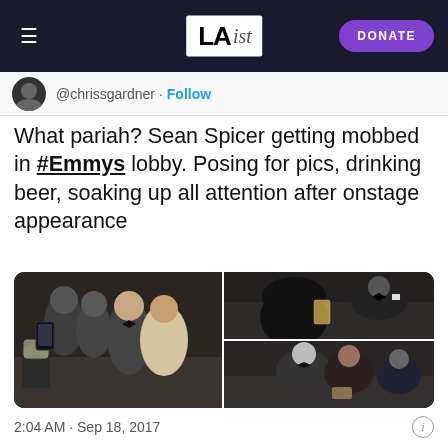LAist — DONATE
@chrissgardner · Follow
What pariah? Sean Spicer getting mobbed in #Emmys lobby. Posing for pics, drinking beer, soaking up all attention after onstage appearance
[Figure (photo): Three photos from Emmys lobby showing Sean Spicer posing with attendees, holding drinks, in a crowd of people in formal wear]
2:04 AM · Sep 18, 2017